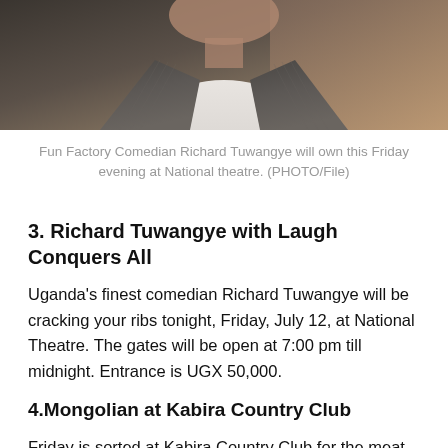[Figure (photo): A man in a pinstripe suit, cropped at the upper body, photographed from chest level upward. The image shows a comedian in formal attire against a warm-toned background.]
Fun Factory Comedian Richard Tuwangye will own this Friday evening at National theatre. (PHOTO/File)
3. Richard Tuwangye with Laugh Conquers All
Uganda's finest comedian Richard Tuwangye will be cracking your ribs tonight, Friday, July 12, at National Theatre. The gates will be open at 7:00 pm till midnight. Entrance is UGX 50,000.
4.Mongolian at Kabira Country Club
Friday is sorted at Kabira Country Club for the meat lovers. All this will go at UGX 38,000
The gates will be open from 7:00 pm till midnight
5. All white Party at Serena Hotel